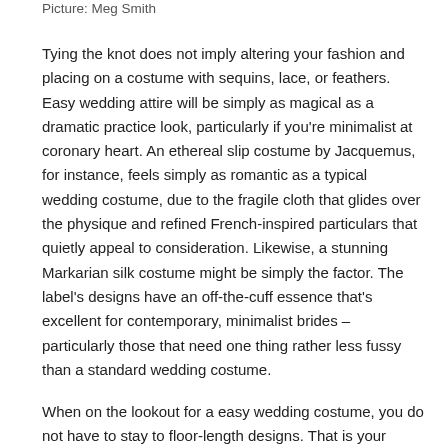Picture: Meg Smith
Tying the knot does not imply altering your fashion and placing on a costume with sequins, lace, or feathers. Easy wedding attire will be simply as magical as a dramatic practice look, particularly if you're minimalist at coronary heart. An ethereal slip costume by Jacquemus, for instance, feels simply as romantic as a typical wedding costume, due to the fragile cloth that glides over the physique and refined French-inspired particulars that quietly appeal to consideration. Likewise, a stunning Markarian silk costume might be simply the factor. The label's designs have an off-the-cuff essence that's excellent for contemporary, minimalist brides – particularly those that need one thing rather less fussy than a standard wedding costume.
When on the lookout for a easy wedding costume, you do not have to stay to floor-length designs. That is your second to